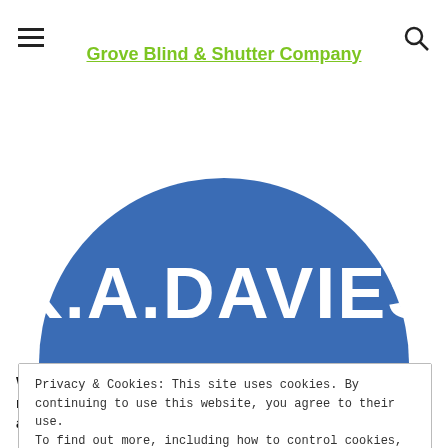Grove Blind & Shutter Company
[Figure (logo): K.A.DAVIES logo — white bold text on a blue semicircle/circle background]
We use cookies on our website to give you the most relevant experience by remembering your preferences and repeat
Privacy & Cookies: This site uses cookies. By continuing to use this website, you agree to their use.
To find out more, including how to control cookies, see here: Cookie Policy
Close and accept